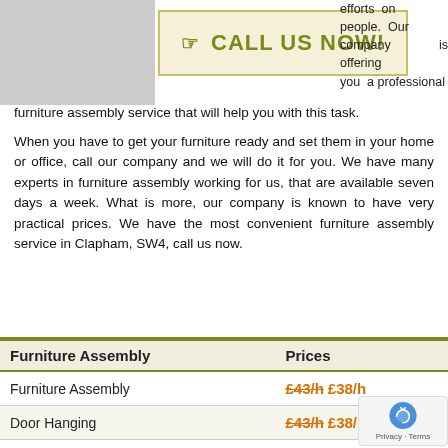[Figure (photo): Photo of furniture or room, partially visible on the left side of the top area]
[Figure (infographic): Call us now banner with hand pointer icon, yellow-green border on cream background]
efforts on people. Our company is offering you a professional furniture assembly service that will help you with this task.
When you have to get your furniture ready and set them in your home or office, call our company and we will do it for you. We have many experts in furniture assembly working for us, that are available seven days a week. What is more, our company is known to have very practical prices. We have the most convenient furniture assembly service in Clapham, SW4, call us now.
| Furniture Assembly | Prices |
| --- | --- |
| Furniture Assembly | £43/h £38/h |
| Door Hanging | £43/h £38/h |
| Odd Jobs | £43/h £38/h |
| Fit Blinds and Curtains | £43/h £38/h |